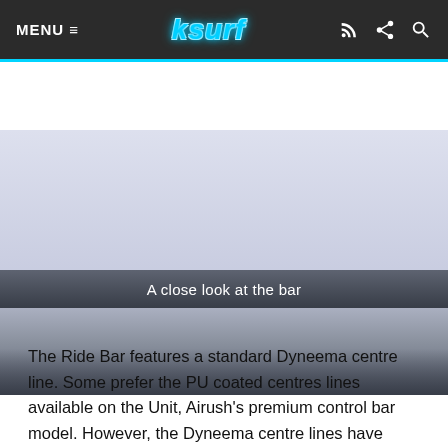MENU ≡   ksurf
[Figure (photo): A placeholder light blue-grey image area representing a close-up photo of a kitesurfing bar control system.]
A close look at the bar
The Ride Bar features a standard Dyneema centre line. Some prefer the PU coated centres lines available on the Unit, Airush's premium control bar model. However, the Dyneema centre lines have been around for as long as we can remember, and they definitely do the trick! On the pigtail ends, there are 'kook-proof' tags that match up with